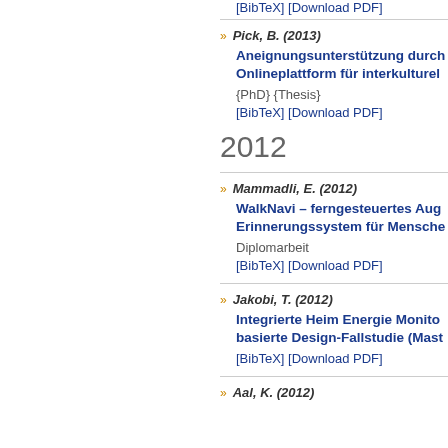[BibTeX] [Download PDF]
Pick, B. (2013) — Aneignungsunterstützung durch Onlineplattform für interkulturel...
{PhD} {Thesis}
[BibTeX] [Download PDF]
2012
Mammadli, E. (2012) — WalkNavi – ferngesteuertes Aug... Erinnerungssystem für Mensche...
Diplomarbeit
[BibTeX] [Download PDF]
Jakobi, T. (2012) — Integrierte Heim Energie Monito... basierte Design-Fallstudie (Mast...
[BibTeX] [Download PDF]
Aal, K. (2012)